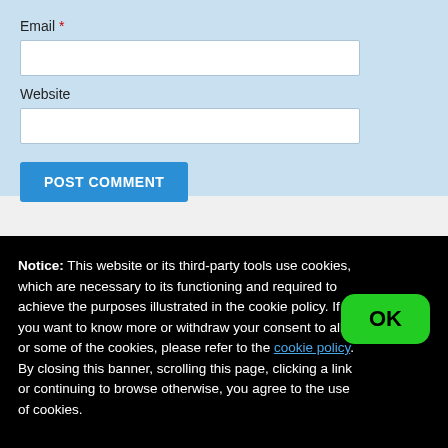Email *
Website
POST COMMENT
Notice: This website or its third-party tools use cookies, which are necessary to its functioning and required to achieve the purposes illustrated in the cookie policy. If you want to know more or withdraw your consent to all or some of the cookies, please refer to the cookie policy.
By closing this banner, scrolling this page, clicking a link or continuing to browse otherwise, you agree to the use of cookies.
OK